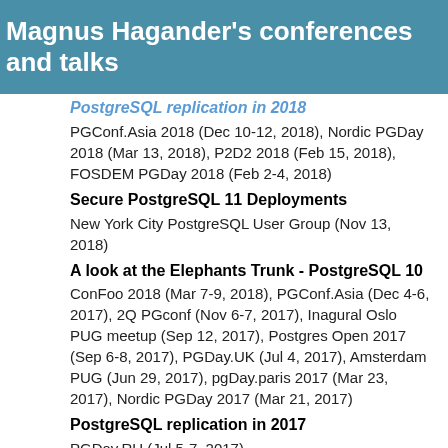Magnus Hagander's conferences and talks
PostgreSQL replication in 2018 [truncated title]
PGConf.Asia 2018 (Dec 10-12, 2018), Nordic PGDay 2018 (Mar 13, 2018), P2D2 2018 (Feb 15, 2018), FOSDEM PGDay 2018 (Feb 2-4, 2018)
Secure PostgreSQL 11 Deployments
New York City PostgreSQL User Group (Nov 13, 2018)
A look at the Elephants Trunk - PostgreSQL 10
ConFoo 2018 (Mar 7-9, 2018), PGConf.Asia (Dec 4-6, 2017), 2Q PGconf (Nov 6-7, 2017), Inagural Oslo PUG meetup (Sep 12, 2017), Postgres Open 2017 (Sep 6-8, 2017), PGDay.UK (Jul 4, 2017), Amsterdam PUG (Jun 29, 2017), pgDay.paris 2017 (Mar 23, 2017), Nordic PGDay 2017 (Mar 21, 2017)
PostgreSQL replication in 2017
PGDay.RU (Jul 5-7, 2017)
Fully automated ACME/Letsencrypt integration
FOSS-North (Apr 26, 2017), Confoo Montreal 2017 (Mar 8-10, 2017), Open Source Infrastructure @ SCALE (Mar 2, 2017)